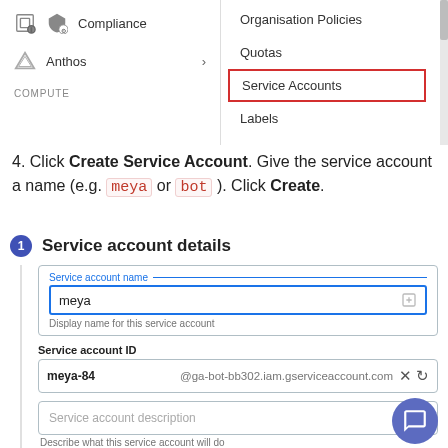[Figure (screenshot): Google Cloud Console navigation menu screenshot showing Compliance and Anthos items on the left, and a dropdown menu on the right with Organisation Policies, Quotas, Service Accounts (highlighted in red box), and Labels options]
4. Click Create Service Account. Give the service account a name (e.g. meya or bot ). Click Create.
[Figure (screenshot): Google Cloud Console form showing Service account details section with a blue circle numbered 1, a Service account name field filled with 'meya', Service account ID field showing 'meya-84' and '@ga-bot-bb302.iam.gserviceaccount.com', a Service account description field, and a CREATE button at the bottom]